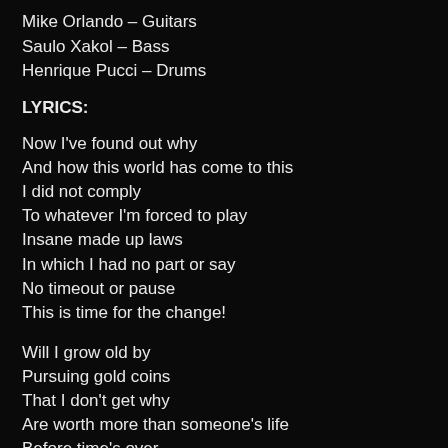Mike Orlando – Guitars
Saulo Xakol – Bass
Henrique Pucci – Drums
LYRICS:
Now I've found out why
And how this world has come to this
I did not comply
To whatever I'm forced to play
Insane made up laws
In which I had no part or say
No timeout or pause
This is time for the change!
Will I grow old by
Pursuing gold coins
That I don't get why
Are worth more than someone's life
Before time's over
I'll search for closure
I feel the system is broken
They try to hide…
Broken, they try to hide
Are we just mice
Running on a wheel?
Are we being handled
By something or someone?